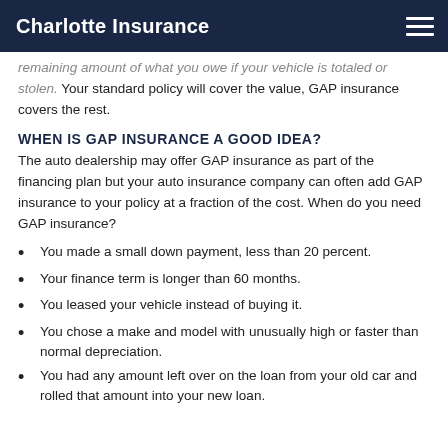Charlotte Insurance
remaining amount of what you owe if your vehicle is totaled or stolen. Your standard policy will cover the value, GAP insurance covers the rest.
WHEN IS GAP INSURANCE A GOOD IDEA?
The auto dealership may offer GAP insurance as part of the financing plan but your auto insurance company can often add GAP insurance to your policy at a fraction of the cost. When do you need GAP insurance?
You made a small down payment, less than 20 percent.
Your finance term is longer than 60 months.
You leased your vehicle instead of buying it.
You chose a make and model with unusually high or faster than normal depreciation.
You had any amount left over on the loan from your old car and rolled that amount into your new loan.